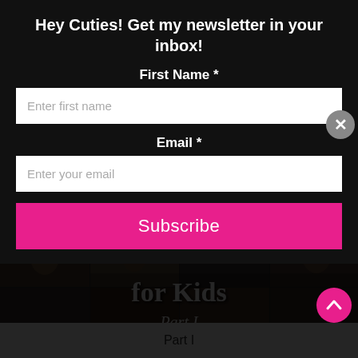Hey Cuties! Get my newsletter in your inbox!
First Name *
Enter first name
Email *
Enter your email
Subscribe
[Figure (photo): Collage of children hairstyle photos with overlay text 'for Kids Part I www.mimicutelips.com']
Part I